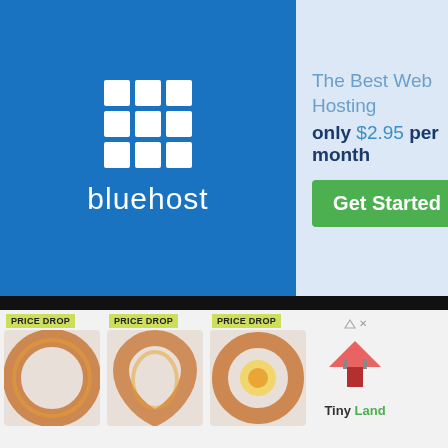[Figure (advertisement): Bluehost web hosting advertisement with logo, tagline 'The Best Web Hosting only $2.95 per month' and green 'Get Started' button]
READ ALSO
Top 10 Best Fashion Designers In The... July 24, 2022
Top 13 Most Luxurious Jewelry Brands In... May 12, 2022
Contact Us  Write For Us  er  DMCA/Removal Service
d Developed by Worlds Top Insider
[Figure (advertisement): Three PRICE DROP items showing fall wreath products, plus Tiny Land logo advertisement]